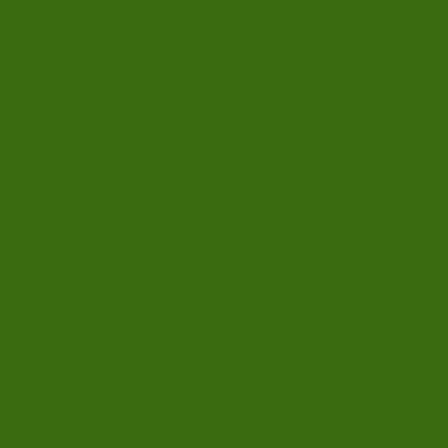[Figure (screenshot): Dark green background taking up the left two-thirds of the page]
benefits of his Gre...
.
Contact Mike Ortiz... service to you that...
.
Nov 2, 2017 10:16:2...
Com...
Recomme...
Green Team Lawn... customers to meet...
[Figure (illustration): Small broken image placeholder icon]
Your Family Best C... playground, or an i...